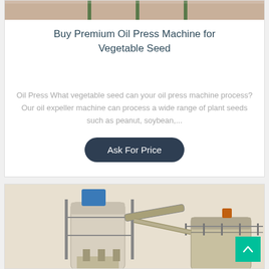[Figure (photo): Top portion of an oil press machine, partial view of industrial equipment with green rods/pipes on a light background]
Buy Premium Oil Press Machine for Vegetable Seed
Oil Press What vegetable seed can your oil press machine process? Our oil expeller machine can process a wide range of plant seeds such as peanut, soybean,...
Ask For Price
[Figure (photo): Industrial oil press machinery setup showing large cylindrical tanks, metal framework, walkways, and processing equipment]